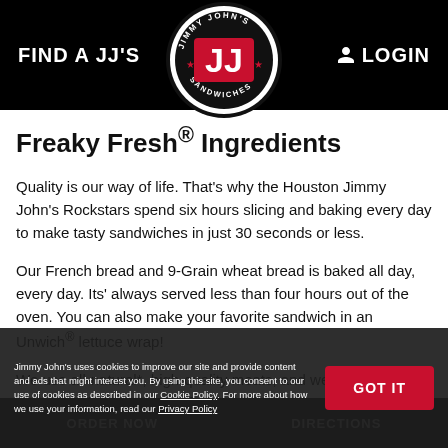FIND A JJ'S    LOGIN
Freaky Fresh® Ingredients
Quality is our way of life. That's why the Houston Jimmy John's Rockstars spend six hours slicing and baking every day to make tasty sandwiches in just 30 seconds or less.
Our French bread and 9-Grain wheat bread is baked all day, every day. Its' always served less than four hours out of the oven. You can also make your favorite sandwich in an Unwich® lettuce wrap!
We use all-natural*, high-quality meats, and we slice and weight each portion to perfection daily. Our veggies are locally purchased and delivered to Houston Jimmy...
Jimmy John's uses cookies to improve our site and provide content and ads that might interest you. By using this site, you consent to our use of cookies as described in our Cookie Policy. For more about how we use your information, read our Privacy Policy
ORDER NOW    DIRECTIONS